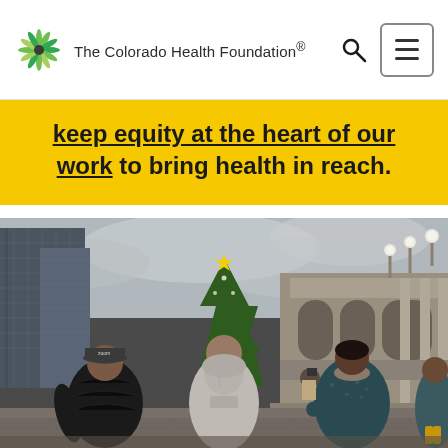The Colorado Health Foundation®
keep equity at the heart of our work to bring health in reach.
[Figure (photo): Three people standing with arms linked, viewed from behind, facing a large stone building (Colorado State Capitol area) with a Christmas tree and city skyscrapers in the background. Overcast winter day. The person on the left wears a black puffer jacket and baseball cap with 'zoom' text; the center person wears a gray hoodie; the right person wears a dark teal/green jacket.]